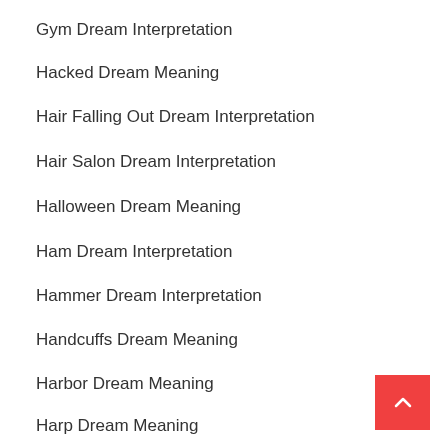Gym Dream Interpretation
Hacked Dream Meaning
Hair Falling Out Dream Interpretation
Hair Salon Dream Interpretation
Halloween Dream Meaning
Ham Dream Interpretation
Hammer Dream Interpretation
Handcuffs Dream Meaning
Harbor Dream Meaning
Harp Dream Meaning